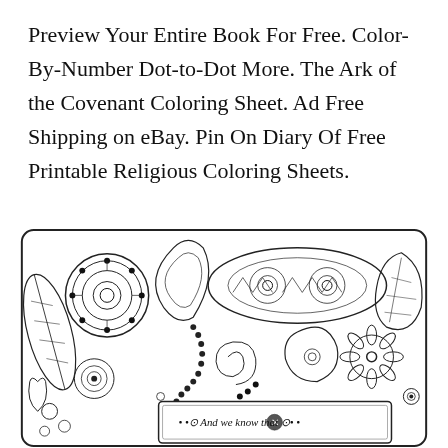Preview Your Entire Book For Free. Color-By-Number Dot-to-Dot More. The Ark of the Covenant Coloring Sheet. Ad Free Shipping on eBay. Pin On Diary Of Free Printable Religious Coloring Sheets.
[Figure (illustration): A decorative coloring page with intricate paisley, mandala, floral, and leaf patterns. At the bottom center is a framed text banner beginning with 'And we know that' in italic script with decorative dot elements.]